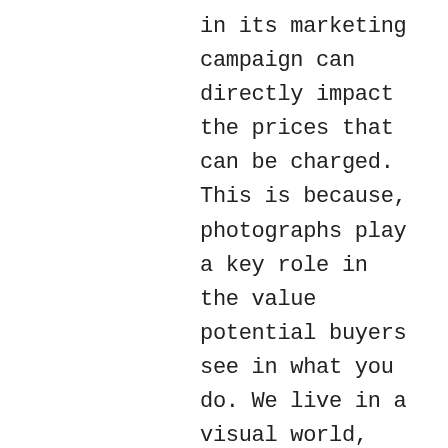in its marketing campaign can directly impact the prices that can be charged. This is because, photographs play a key role in the value potential buyers see in what you do. We live in a visual world, where images can affect the perceived value of a product or service. If you are a designer and all of your projects were taken on your cell phone, these images are likely to make your photos dark and dingy. When potential buyers see these images, they will assume you are cheap and more than likely unprofessional. On the other hand, if your portfolio consists of high quality, professional images that look like they've come straight out of a home magazine. Buyer will assume that you are great at what you do and will show them that you care